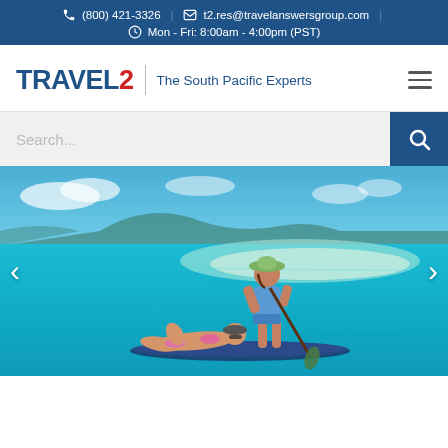(800) 421-3326 | t2.res@travelanswersgroup.com | Mon - Fri: 8:00am - 4:00pm (PST)
TRAVEL2 - The South Pacific Experts
[Figure (screenshot): Search bar with placeholder text 'Search...' and a blue search button with magnifying glass icon]
[Figure (photo): Hero image of two women on a paddle board on turquoise tropical water with a sandbar and blue sky in the background. Navigation arrows visible on left and right sides.]